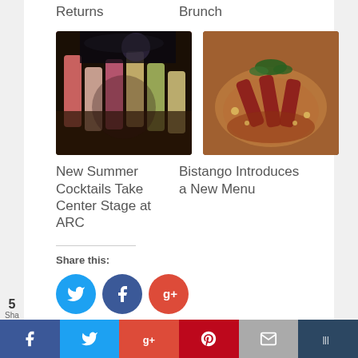Returns
Brunch
[Figure (photo): Colorful summer cocktails lined up on a bar]
[Figure (photo): Bistango food dish with lamb chops and garnish]
New Summer Cocktails Take Center Stage at ARC
Bistango Introduces a New Menu
Share this:
[Figure (infographic): Social share buttons: Twitter (blue), Facebook (dark blue), Google Plus (red)]
Sign Up for Our Newsletter
5 Sha... [social share bar: Facebook, Twitter, Google+, Pinterest, Email, Buffer]